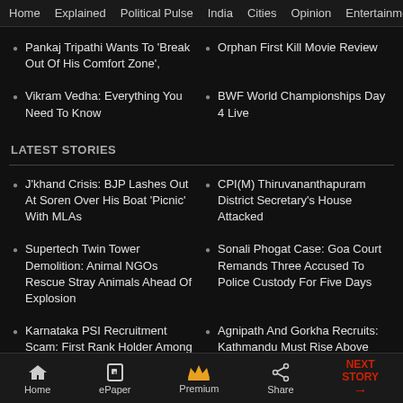Home  Explained  Political Pulse  India  Cities  Opinion  Entertainment
Pankaj Tripathi Wants To 'Break Out Of His Comfort Zone',
Orphan First Kill Movie Review
Vikram Vedha: Everything You Need To Know
BWF World Championships Day 4 Live
LATEST STORIES
J'khand Crisis: BJP Lashes Out At Soren Over His Boat 'Picnic' With MLAs
CPI(M) Thiruvananthapuram District Secretary's House Attacked
Supertech Twin Tower Demolition: Animal NGOs Rescue Stray Animals Ahead Of Explosion
Sonali Phogat Case: Goa Court Remands Three Accused To Police Custody For Five Days
Karnataka PSI Recruitment Scam: First Rank Holder Among
Agnipath And Gorkha Recruits: Kathmandu Must Rise Above
Home  ePaper  Premium  Share  NEXT STORY